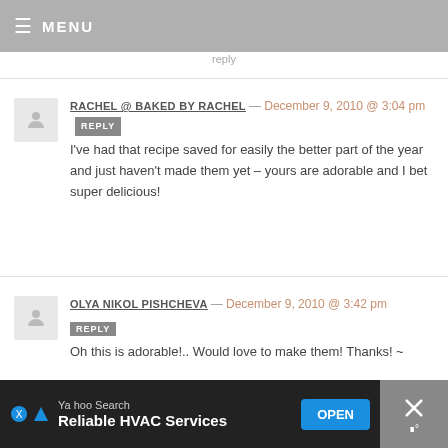MENU
reply
RACHEL @ BAKED BY RACHEL — December 9, 2010 @ 3:04 pm REPLY
I've had that recipe saved for easily the better part of the year and just haven't made them yet – yours are adorable and I bet super delicious!
OLYA NIKOL PISHCHEVA — December 9, 2010 @ 3:42 pm REPLY
Oh this is adorable!.. Would love to make them! Thanks! ~
[Figure (infographic): Yahoo Search ad banner: 'Reliable HVAC Services' with OPEN button and close X icon]